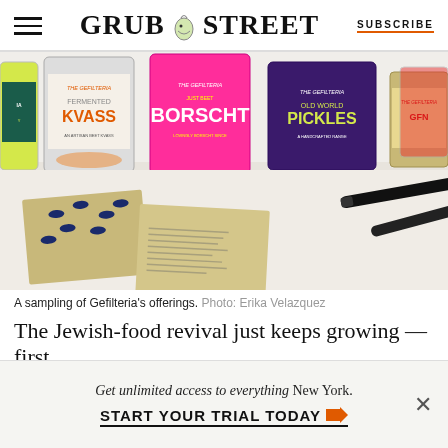GRUB STREET  SUBSCRIBE
[Figure (photo): A table with several jars/cans labeled 'The Gefilteria' with products including Kvass, Just Beet Borscht, and Old World Pickles, along with paper booklets featuring fish illustrations and two black markers/pens on a white surface.]
A sampling of Gefilteria’s offerings. Photo: Erika Velazquez
The Jewish-food revival just keeps growing — first Katcheli’s Tribune, then Le Bern, John Hüf...
Get unlimited access to everything New York.
START YOUR TRIAL TODAY »